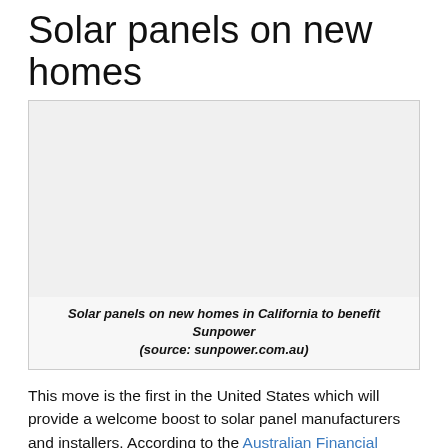Solar panels on new homes
[Figure (photo): Image placeholder showing solar panels on new homes in California, source: sunpower.com.au]
Solar panels on new homes in California to benefit Sunpower (source: sunpower.com.au)
This move is the first in the United States which will provide a welcome boost to solar panel manufacturers and installers. According to the Australian Financial Review, California adds about 80,000 new houses per year. Currently, the California Solar & Storage Association estimates that 15,000, or almost one in five homes come with solar. The new standards are expected to increase demand for solar systems by 10-15%